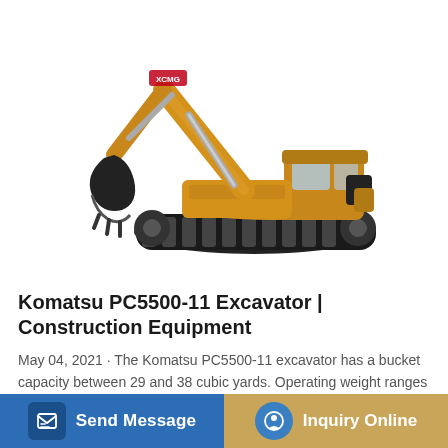[Figure (photo): XCMG excavator with yellow body, crawler tracks, long boom arm and bucket, on white background]
Komatsu PC5500-11 Excavator | Construction Equipment
May 04, 2021 · The Komatsu PC5500-11 excavator has a bucket capacity between 29 and 38 cubic yards. Operating weight ranges between 1,183,882 and 1,194,905 pounds,...
Send Message
Inquiry Online